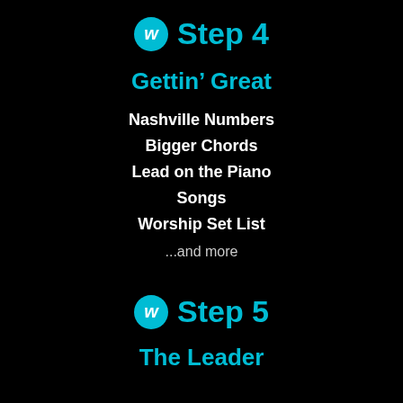Step 4
Gettin’ Great
Nashville Numbers
Bigger Chords
Lead on the Piano
Songs
Worship Set List
…and more
Step 5
The Leader